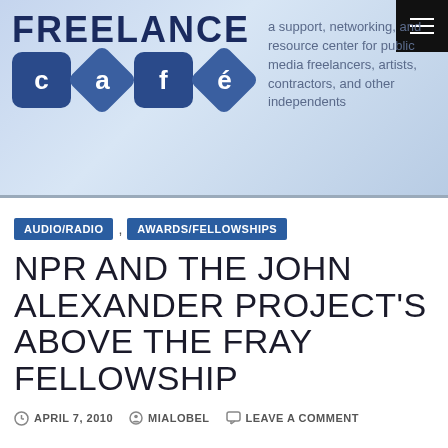[Figure (logo): Freelance Café logo with blue gradient background header, logo text and café word in blue tiles]
a support, networking, and resource center for public media freelancers, artists, contractors, and other independents
AUDIO/RADIO
AWARDS/FELLOWSHIPS
NPR AND THE JOHN ALEXANDER PROJECT'S ABOVE THE FRAY FELLOWSHIP
APRIL 7, 2010   MIALOBEL   LEAVE A COMMENT